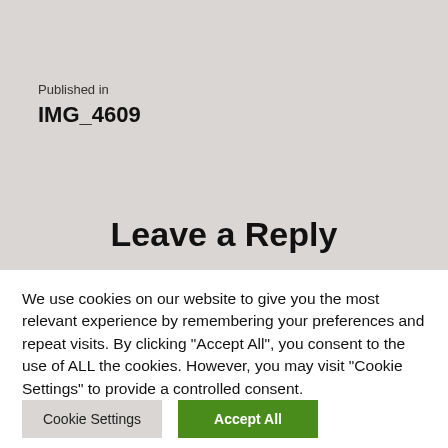Published in
IMG_4609
Leave a Reply
We use cookies on our website to give you the most relevant experience by remembering your preferences and repeat visits. By clicking “Accept All”, you consent to the use of ALL the cookies. However, you may visit “Cookie Settings” to provide a controlled consent.
Cookie Settings
Accept All